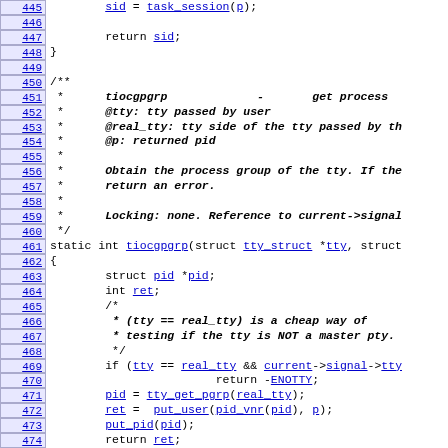[Figure (screenshot): Source code listing (C language) showing lines 445-474 of a kernel tty driver file. Line numbers in blue on the left, code on the right in monospace. Includes a function comment block and static int tiocgpgrp function definition with body.]